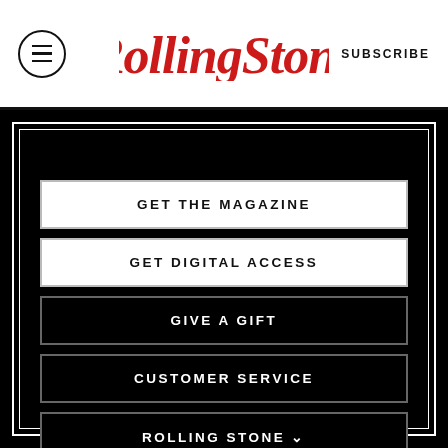Rolling Stone | SUBSCRIBE
GET THE MAGAZINE
GET DIGITAL ACCESS
GIVE A GIFT
CUSTOMER SERVICE
ROLLING STONE